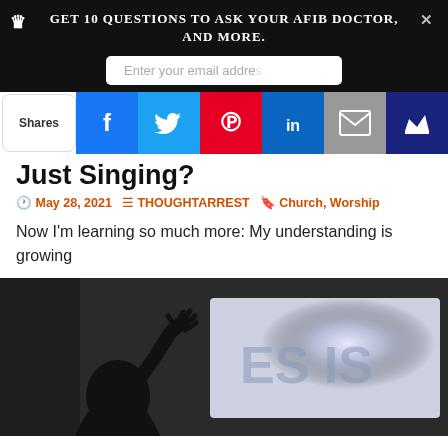Get 10 Questions to ask your AFIB doctor, and more.
[Figure (screenshot): Social sharing bar with Facebook, Twitter, Pinterest, LinkedIn, Email, and crown/bookmark buttons. Shows 'Shares' label on left.]
Just Singing?
May 28, 2021   THOUGHTARREST   Church, Worship
Now I'm learning so much more: My understanding is growing
[Figure (photo): Silhouette of a person with raised hand against a bright screen displaying partial text 'JESUS']